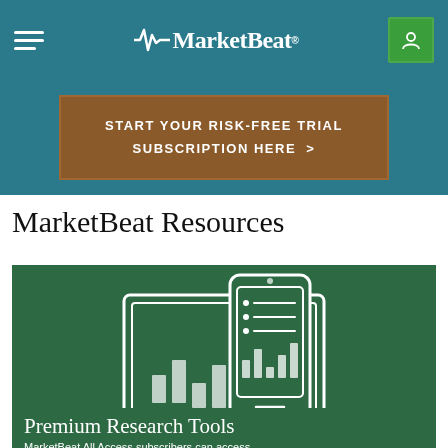MarketBeat
START YOUR RISK-FREE TRIAL SUBSCRIPTION HERE >
MarketBeat Resources
[Figure (illustration): White line icon of a laptop and mobile phone showing bar charts and lists on screens, on a dark green background]
Premium Research Tools
MarketBeat All Access subscribers can access